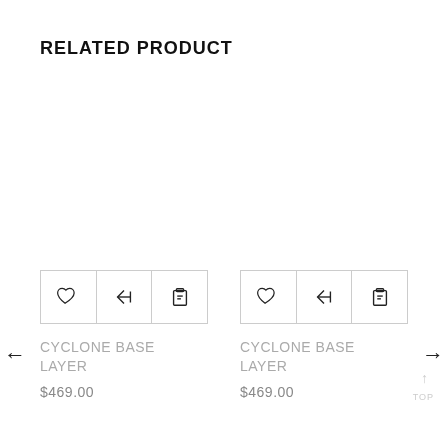RELATED PRODUCT
[Figure (screenshot): Product card 1 with icon bar (heart, compare, clipboard) and product name CYCLONE BASE LAYER priced at $469.00]
[Figure (screenshot): Product card 2 with icon bar (heart, compare, clipboard) and product name CYCLONE BASE LAYER priced at $469.00]
CYCLONE BASE LAYER
$469.00
CYCLONE BASE LAYER
$469.00